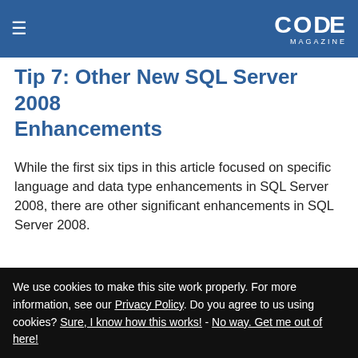≡   CODE MAGAZINE
Tip 7: Other New SQL Server 2008 Enhancements
While the first six tips in this article focused on specific language and data type enhancements in SQL Server 2008, there are other significant enhancements in SQL Server 2008.
XML enhancements: Suppose you need
We use cookies to make this site work properly. For more information, see our Privacy Policy. Do you agree to us using cookies? Sure, I know how this works! - No way. Get me out of here!